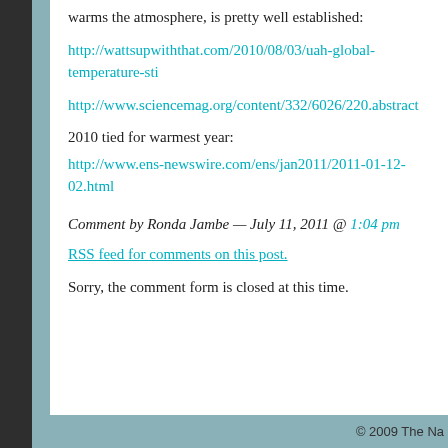warms the atmosphere, is pretty well established:
http://wattsupwiththat.com/2010/08/03/uah-global-temperature-sti
http://www.sciencemag.org/content/332/6026/220.abstract
2010 tied for warmest year:
http://www.ens-newswire.com/ens/jan2011/2011-01-12-02.html
Comment by Ronda Jambe — July 11, 2011 @ 1:04 pm
RSS feed for comments on this post.
Sorry, the comment form is closed at this time.
© 2009 The Na